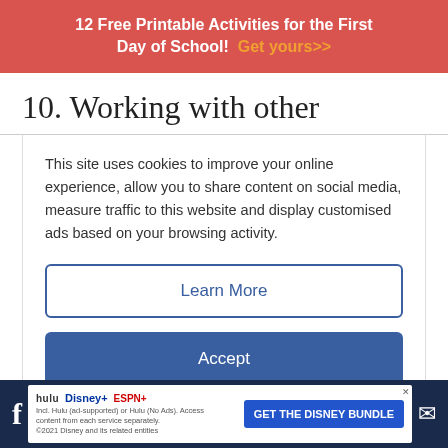12 Free Printable Activities for the First Day of School! Get yours>>
10. Working with other
This site uses cookies to improve your online experience, allow you to share content on social media, measure traffic to this website and display customised ads based on your browsing activity.
Learn More
Accept
11. Special education and ELL
[Figure (screenshot): Disney Bundle advertisement banner at the bottom of the page showing Hulu, Disney+, and ESPN+ logos with 'GET THE DISNEY BUNDLE' call-to-action button]